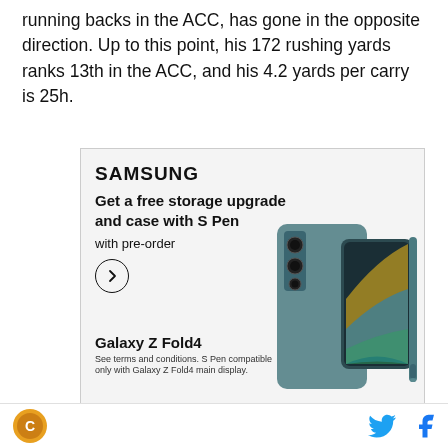running backs in the ACC, has gone in the opposite direction. Up to this point, his 172 rushing yards ranks 13th in the ACC, and his 4.2 yards per carry is 25h.
[Figure (infographic): Samsung advertisement for Galaxy Z Fold4. Text reads: SAMSUNG, Get a free storage upgrade and case with S Pen, with pre-order, Galaxy Z Fold4. See terms and conditions. S Pen compatible only with Galaxy Z Fold4 main display. Shows image of Galaxy Z Fold4 phone with S Pen.]
Miami as a whole is last in the ACC in rushing yards
Logo icon and social media icons (Twitter, Facebook)